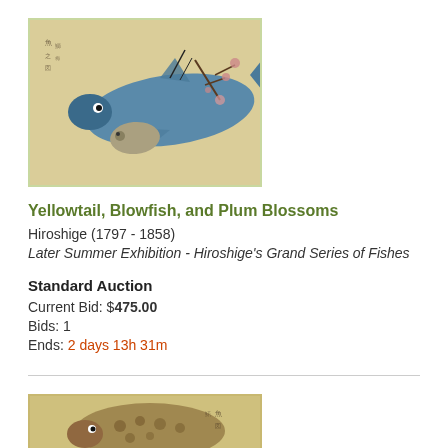[Figure (illustration): Japanese woodblock print showing a large yellowtail fish and a smaller blowfish with plum blossom branches, on a beige/tan background with Japanese calligraphy text]
Yellowtail, Blowfish, and Plum Blossoms
Hiroshige (1797 - 1858)
Later Summer Exhibition - Hiroshige's Grand Series of Fishes
Standard Auction
Current Bid: $475.00
Bids: 1
Ends: 2 days 13h 31m
[Figure (illustration): Japanese woodblock print showing fish with spotted pattern and Japanese calligraphy, partially visible, cropped at bottom of page]